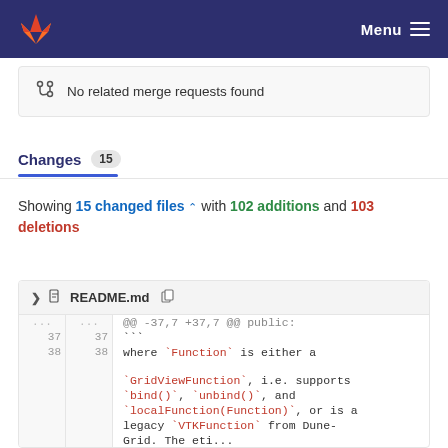GitLab — Menu
No related merge requests found
Changes 15
Showing 15 changed files with 102 additions and 103 deletions
README.md — diff showing @@ -37,7 +37,7 @@ public: ``` where `Function` is either a `GridViewFunction`, i.e. supports `bind()`, `unbind()`, and `localFunction(Function)`, or is a legacy `VTKFunction` from Dune-